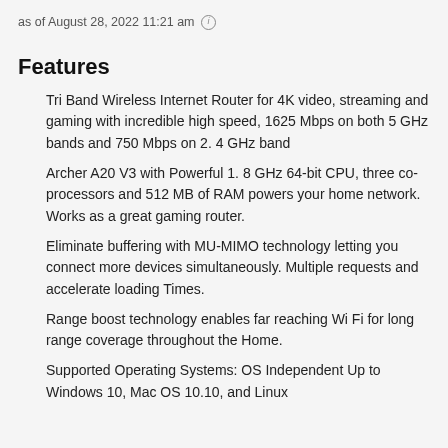as of August 28, 2022 11:21 am ℹ
Features
Tri Band Wireless Internet Router for 4K video, streaming and gaming with incredible high speed, 1625 Mbps on both 5 GHz bands and 750 Mbps on 2.4 GHz band
Archer A20 V3 with Powerful 1. 8 GHz 64-bit CPU, three co-processors and 512 MB of RAM powers your home network. Works as a great gaming router.
Eliminate buffering with MU-MIMO technology letting you connect more devices simultaneously. Multiple requests and accelerate loading Times.
Range boost technology enables far reaching Wi Fi for long range coverage throughout the Home.
Supported Operating Systems: OS Independent Up to Windows 10, Mac OS 10.10, and Linux